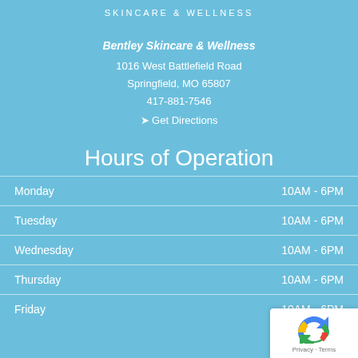SKINCARE & WELLNESS
Bentley Skincare & Wellness
1016 West Battlefield Road
Springfield, MO 65807
417-881-7546
📍 Get Directions
Hours of Operation
| Day | Hours |
| --- | --- |
| Monday | 10AM - 6PM |
| Tuesday | 10AM - 6PM |
| Wednesday | 10AM - 6PM |
| Thursday | 10AM - 6PM |
| Friday | 10AM - 6PM |